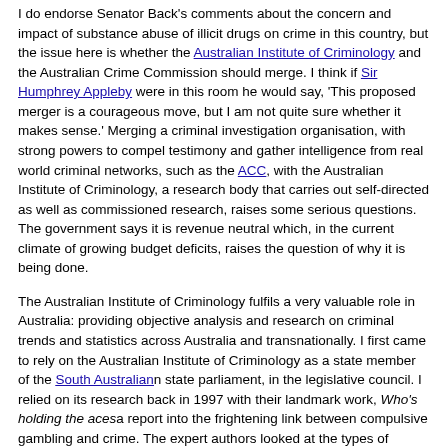I do endorse Senator Back's comments about the concern and impact of substance abuse of illicit drugs on crime in this country, but the issue here is whether the Australian Institute of Criminology and the Australian Crime Commission should merge. I think if Sir Humphrey Appleby were in this room he would say, 'This proposed merger is a courageous move, but I am not quite sure whether it makes sense.' Merging a criminal investigation organisation, with strong powers to compel testimony and gather intelligence from real world criminal networks, such as the ACC, with the Australian Institute of Criminology, a research body that carries out self-directed as well as commissioned research, raises some serious questions. The government says it is revenue neutral which, in the current climate of growing budget deficits, raises the question of why it is being done.
The Australian Institute of Criminology fulfils a very valuable role in Australia: providing objective analysis and research on criminal trends and statistics across Australia and transnationally. I first came to rely on the Australian Institute of Criminology as a state member of the South Australian state parliament, in the legislative council. I relied on its research back in 1997 with their landmark work, Who's holding the aces a report into the frightening link between compulsive gambling and crime. The expert authors looked at the types of offences committed, the socioeconomic groups involved in gambling and sought to understand